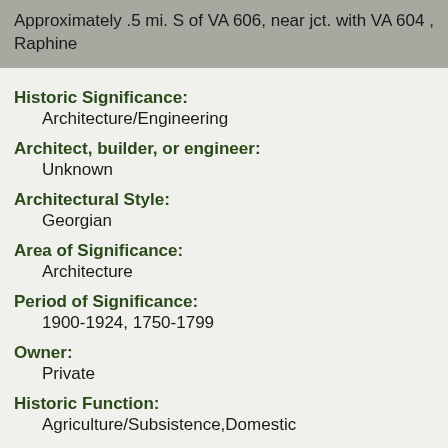Approximately .5 mi. S of VA 606, near jct. with VA 604 , Raphine
Historic Significance:
Architecture/Engineering
Architect, builder, or engineer:
Unknown
Architectural Style:
Georgian
Area of Significance:
Architecture
Period of Significance:
1900-1924, 1750-1799
Owner:
Private
Historic Function:
Agriculture/Subsistence,Domestic
Historic Sub-function:
Animal Facility, Processing, Secondary Structure